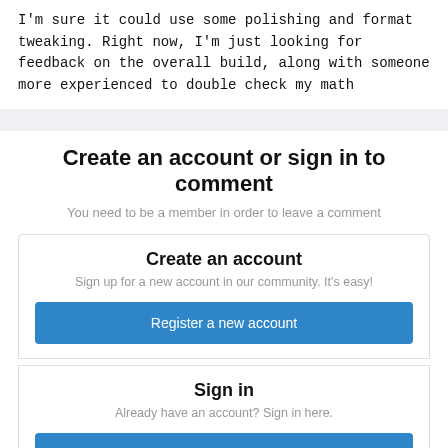I'm sure it could use some polishing and format tweaking. Right now, I'm just looking for feedback on the overall build, along with someone more experienced to double check my math
Create an account or sign in to comment
You need to be a member in order to leave a comment
Create an account
Sign up for a new account in our community. It's easy!
Register a new account
Sign in
Already have an account? Sign in here.
Sign In Now